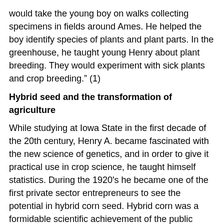would take the young boy on walks collecting specimens in fields around Ames. He helped the boy identify species of plants and plant parts. In the greenhouse, he taught young Henry about plant breeding. They would experiment with sick plants and crop breeding." (1)
Hybrid seed and the transformation of agriculture
While studying at Iowa State in the first decade of the 20th century, Henry A. became fascinated with the new science of genetics, and in order to give it practical use in crop science, he taught himself statistics. During the 1920's he became one of the first private sector entrepreneurs to see the potential in hybrid corn seed. Hybrid corn was a formidable scientific achievement of the public sector, an undertaking sometimes referred to as the Manhattan Project of agriculture because of its massive scope.
Wallace developed his own variety of hybrid corn, Copper Cross, and in 1926 founded the Hi-Bred Corn company, which specialized in the sale of hybrid seed. This corporation, which in 1936 changed its